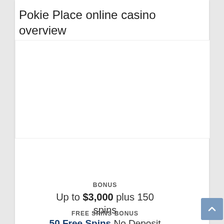Pokie Place online casino overview
[Figure (other): White image/logo placeholder area for Pokie Place casino]
Play now!
BONUS
Up to $3,000 plus 150 spins
FREE SPINS BONUS
50 Free Spins No Deposit Required